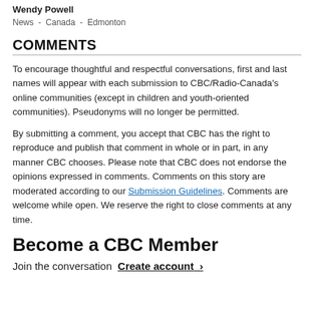Wendy Powell
News  -  Canada  -  Edmonton
COMMENTS
To encourage thoughtful and respectful conversations, first and last names will appear with each submission to CBC/Radio-Canada's online communities (except in children and youth-oriented communities). Pseudonyms will no longer be permitted.
By submitting a comment, you accept that CBC has the right to reproduce and publish that comment in whole or in part, in any manner CBC chooses. Please note that CBC does not endorse the opinions expressed in comments. Comments on this story are moderated according to our Submission Guidelines. Comments are welcome while open. We reserve the right to close comments at any time.
Become a CBC Member
Join the conversation  Create account  ›